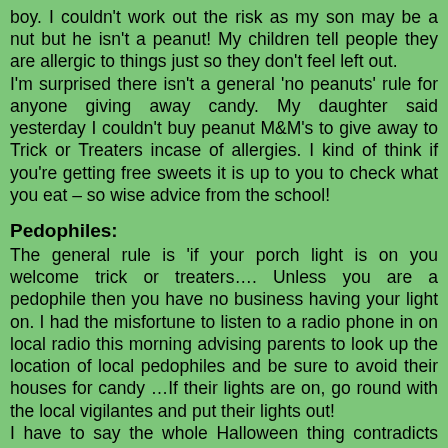boy. I couldn't work out the risk as my son may be a nut but he isn't a peanut! My children tell people they are allergic to things just so they don't feel left out.
I'm surprised there isn't a general 'no peanuts' rule for anyone giving away candy. My daughter said yesterday I couldn't buy peanut M&M's to give away to Trick or Treaters incase of allergies. I kind of think if you're getting free sweets it is up to you to check what you eat – so wise advice from the school!
Pedophiles:
The general rule is 'if your porch light is on you welcome trick or treaters…. Unless you are a pedophile then you have no business having your light on. I had the misfortune to listen to a radio phone in on local radio this morning advising parents to look up the location of local pedophiles and be sure to avoid their houses for candy …If their lights are on, go round with the local vigilantes and put their lights out!
I have to say the whole Halloween thing contradicts some of the US watchdog guidelines to stay safe for Halloween:
§       Always tell your parents where you are going. (Traipsing round the streets knocking on random strangers' doors)
§       Never go anywhere that isn't well lit. (unless it